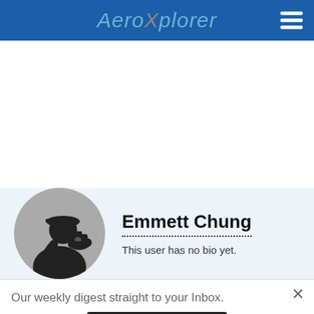AeroXplorer
[Figure (illustration): White empty content area below navigation header]
[Figure (photo): User avatar silhouette of person with camera on grey circle background]
Emmett Chung
This user has no bio yet.
Our weekly digest straight to your Inbox.
Subscribe